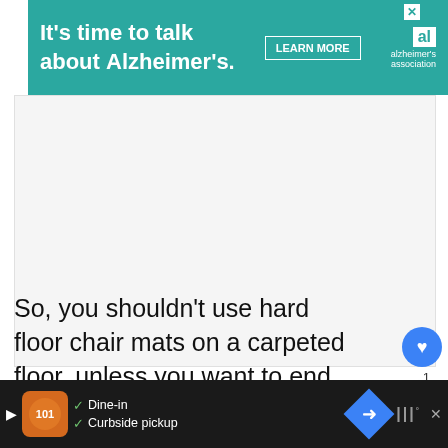[Figure (screenshot): Alzheimer's Association advertisement banner: teal/green background with white text 'It’s time to talk about Alzheimer’s.' and a LEARN MORE button]
[Figure (screenshot): Gray placeholder advertisement area with a small brand watermark in the bottom-right corner]
So, you shouldn’t use hard floor chair mats on a carpeted floor, unless you want to end up with a damaged carpet.
What to use in place of cha…
While there’s no denying that chair mats can b… aren’t
[Figure (screenshot): WHAT’S NEXT sidebar: How Do You Fix a Tilt Loc… with chair image]
[Figure (screenshot): Bottom advertisement bar: dark background with restaurant/food delivery app ad showing Dine-in and Curbside pickup options]